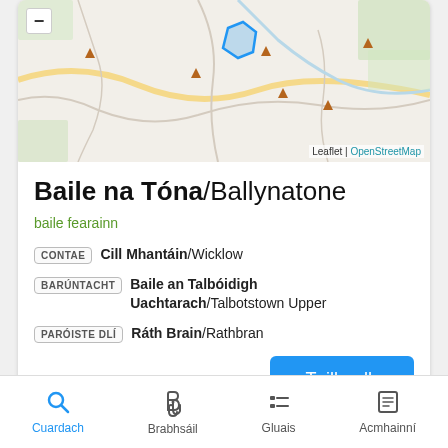[Figure (map): OpenStreetMap tile showing terrain around Ballynatone area in Wicklow, Ireland. A blue outlined polygon marks the townland. Several brown triangle markers indicate peaks. Map attribution: Leaflet | OpenStreetMap.]
Baile na Tóna/Ballynatone
baile fearainn
CONTAE  Cill Mhantáin/Wicklow
BARÚNTACHT  Baile an Talbóidigh Uachtarach/Talbotstown Upper
PARÓISTE DLÍ  Ráth Brain/Rathbran
Tuilleadh
Cuardach  Brabhsáil  Gluais  Acmhainní